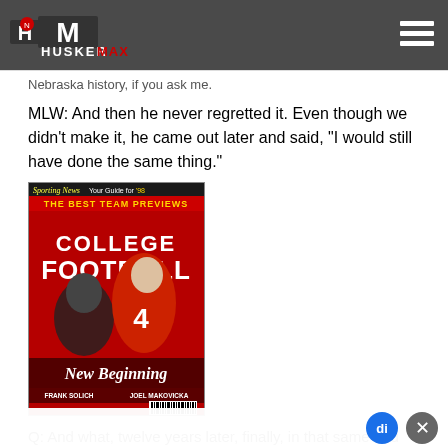HUSKERMAX
Nebraska history, if you ask me.
MLW: And then he never regretted it. Even though we didn't make it, he came out later and said, "I would still have done the same thing."
[Figure (photo): Sporting News College Football Your Guide for '98 The Best Team Previews magazine cover showing 'New Beginning' with Frank Solich and Joel Makovicka]
Q: And what, twelve years later, finally, in that same end zone